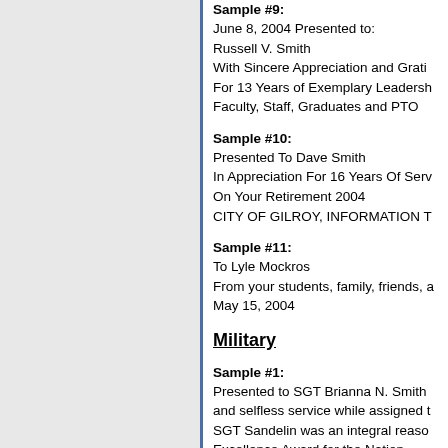Sample #9:
June 8, 2004 Presented to:
Russell V. Smith
With Sincere Appreciation and Grati...
For 13 Years of Exemplary Leadersh...
Faculty, Staff, Graduates and PTO
Sample #10:
Presented To Dave Smith
In Appreciation For 16 Years Of Serv...
On Your Retirement 2004
CITY OF GILROY, INFORMATION T...
Sample #11:
To Lyle Mockros
From your students, family, friends, a...
May 15, 2004
Military
Sample #1:
Presented to SGT Brianna N. Smith
and selfless service while assigned t...
SGT Sandelin was an integral reaso...
Excellence Award for the Nation.
Her presence will be greatly missed.
Sample #2:
Officer Trainee (SSgt) Michael Smith
Malcom Grow Medical Center